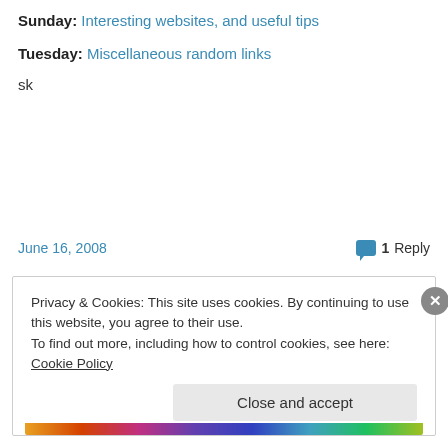Sunday: Interesting websites, and useful tips
Tuesday: Miscellaneous random links
sk
June 16, 2008
1 Reply
Privacy & Cookies: This site uses cookies. By continuing to use this website, you agree to their use.
To find out more, including how to control cookies, see here: Cookie Policy